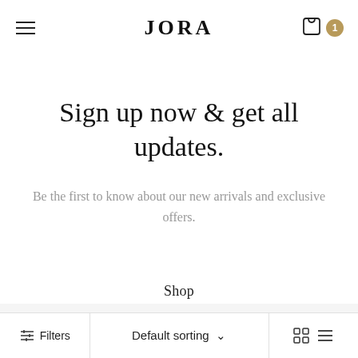JORA
Sign up now & get all updates.
Be the first to know about our new arrivals and exclusive offers.
Shop
Contact
Filters   Default sorting   ☰